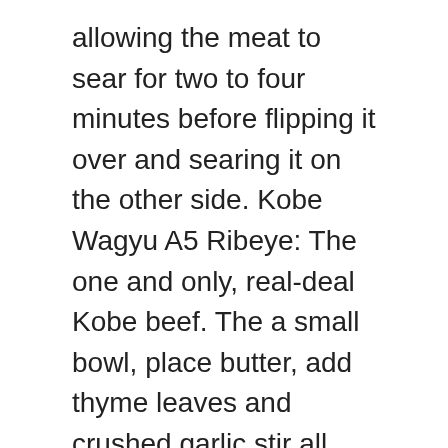allowing the meat to sear for two to four minutes before flipping it over and searing it on the other side. Kobe Wagyu A5 Ribeye: The one and only, real-deal Kobe beef. The a small bowl, place butter, add thyme leaves and crushed garlic stir all well together. Flip and grill until you reach the correct internal temperature for your taste. It became adictive to both of us and it still feels very special, but also easy meal to cook. 2) Allow the pan to come up to heat, cook the steak for 3-4 minutes checking to make sure the steak is forming a nice, golden, even crust. You need to make sure that after grilling the meat has space where the steaks could rest for few minutes. Flip and grill until you reach the correct